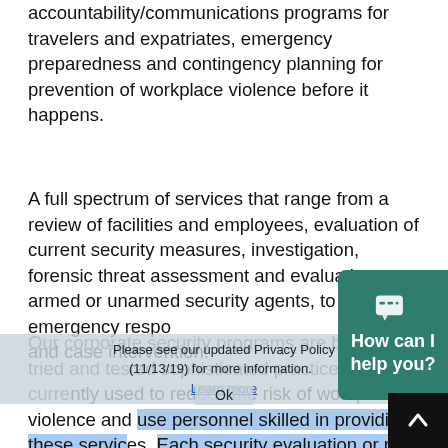accountability/communications programs for travelers and expatriates, emergency preparedness and contingency planning for prevention of workplace violence before it happens.
A full spectrum of services that range from a review of facilities and employees, evaluation of current security measures, investigation, forensic threat assessment and evaluation, armed or unarmed security agents, to emergency response and case intervention.
Our corporate security programs are based on tried and tested sophisticated practices currently used to reduce the risk of workplace violence and use personnel skilled in providing these services. Each security evaluation or risk assessment is tailored exclusively to exactly suit the nature your operations, organizational culture and
Please see our updated Privacy Policy (11/13/19) for more information. Learn more Ok